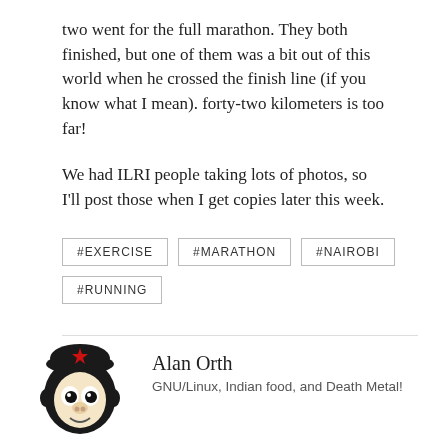two went for the full marathon. They both finished, but one of them was a bit out of this world when he crossed the finish line (if you know what I mean). forty-two kilometers is too far!
We had ILRI people taking lots of photos, so I'll post those when I get copies later this week.
#EXERCISE
#MARATHON
#NAIROBI
#RUNNING
[Figure (illustration): Cartoon avatar of a monkey or Tux-like Linux mascot with black hair in Che Guevara beret style]
Alan Orth
GNU/Linux, Indian food, and Death Metal!